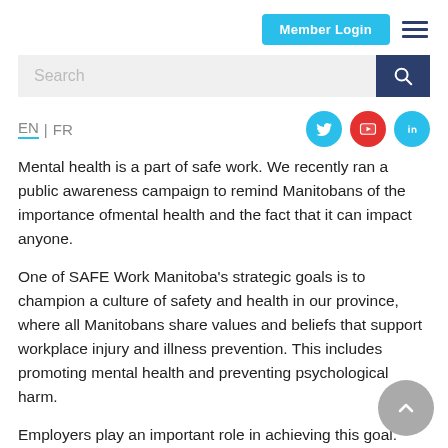Member Login
Search
EN | FR
Mental health is a part of safe work. We recently ran a public awareness campaign to remind Manitobans of the importance ofmental health and the fact that it can impact anyone.
One of SAFE Work Manitoba’s strategic goals is to champion a culture of safety and health in our province, where all Manitobans share values and beliefs that support workplace injury and illness prevention. This includes promoting mental health and preventing psychological harm.
Employers play an important role in achieving this goal. Employers who actively work to prevent harm and promote psychological health put a priority on